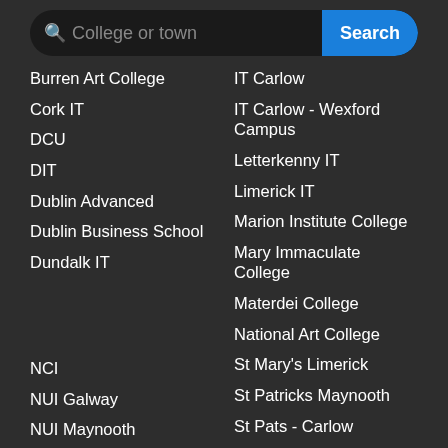[Figure (screenshot): Search bar with magnifying glass icon, placeholder text 'College or town', and a blue 'Search' button]
Burren Art College
Cork IT
DCU
DIT
Dublin Advanced
Dublin Business School
Dundalk IT
NCI
NUI Galway
NUI Maynooth
Portobello College
Queens University
IT Carlow
IT Carlow - Wexford Campus
Letterkenny IT
Limerick IT
Marion Institute College
Mary Immaculate College
Materdei College
National Art College
St Mary's Limerick
St Patricks Maynooth
St Pats - Carlow
Tallaght IT
Tralee IT